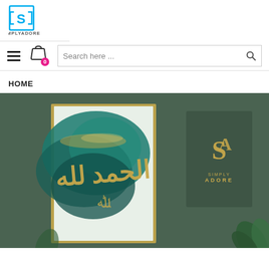[Figure (logo): SimplyAdore logo — stylized S in a square bracket design with 'SIMPLYADORE' text below]
[Figure (screenshot): Navigation bar with hamburger menu, shopping cart icon with 0 badge, and search bar with 'Search here ...' placeholder and a search icon]
HOME
[Figure (photo): Hero image on dark green background showing an Arabic calligraphy art print with gold 'Alhamdulillah' text on a teal marble-style canvas in a gold frame, and a Simply Adore branded green card to the right, with tropical leaves in the corner]